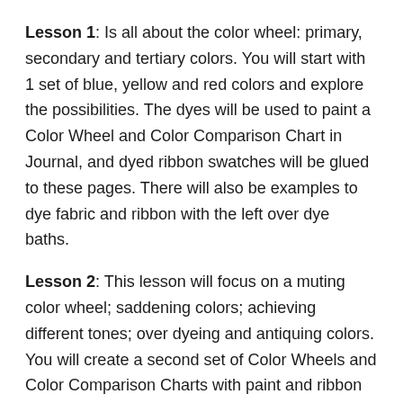Lesson 1: Is all about the color wheel: primary, secondary and tertiary colors. You will start with 1 set of blue, yellow and red colors and explore the possibilities. The dyes will be used to paint a Color Wheel and Color Comparison Chart in Journal, and dyed ribbon swatches will be glued to these pages. There will also be examples to dye fabric and ribbon with the left over dye baths.
Lesson 2: This lesson will focus on a muting color wheel; saddening colors; achieving different tones; over dyeing and antiquing colors. You will create a second set of Color Wheels and Color Comparison Charts with paint and ribbon swatches. Color will be defined further, discussing Value, Hue and Saturation, with examples of several different Color Harmonies. There will also be several Additional Exercises that you can use to experiment with.